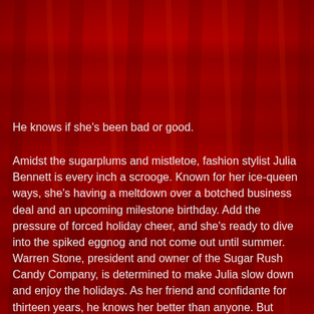[Figure (photo): Red theatrical curtain background filling the upper portion of the page, transitioning to a slightly different shade of red at the bottom half.]
He knows if she's been bad or good.
Amidst the sugarplums and mistletoe, fashion stylist Julia Bennett is every inch a scrooge. Known for her ice-queen ways, she's having a meltdown over a botched business deal and an upcoming milestone birthday. Add the pressure of forced holiday cheer, and she's ready to dive into the spiked eggnog and not come out until summer.
Warren Stone, president and owner of the Sugar Rush Candy Company, is determined to make Julia slow down and enjoy the holidays. As her friend and confidante for thirteen years, he knows her better than anyone. But when decking the halls leads them to an explosive, sexy night, everything suddenly changes.
And when Warren decides Julia is all he wants for